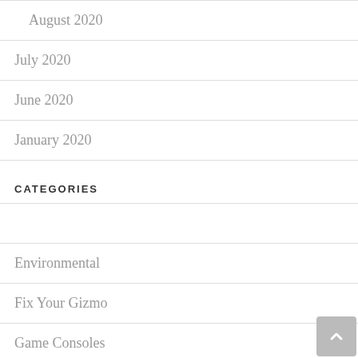August 2020
July 2020
June 2020
January 2020
CATEGORIES
Environmental
Fix Your Gizmo
Game Consoles
Games